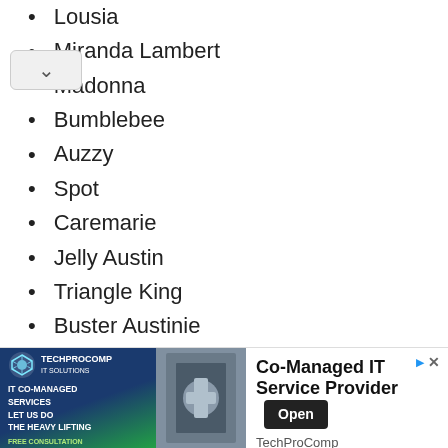Lousia
Miranda Lambert
Madonna
Bumblebee
Auzzy
Spot
Caremarie
Jelly Austin
Triangle King
Buster Austinie
Signify Clean
Elegant
Visio King
Hill
[Figure (infographic): Advertisement banner for TechProComp IT Solutions: Co-Managed IT Service Provider with Open button and TechProComp label]